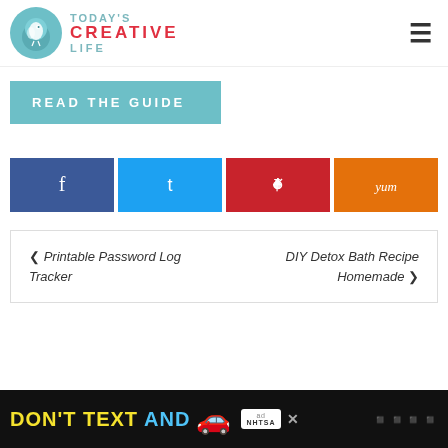[Figure (logo): Today's Creative Life logo with teal bird circle icon and text 'TODAY'S CREATIVE LIFE']
[Figure (other): Hamburger menu icon (three horizontal lines)]
[Figure (other): READ THE GUIDE button in teal/cyan background]
[Figure (other): Social share buttons: Facebook (blue), Twitter (light blue), Pinterest (red), Yummly (orange)]
Printable Password Log Tracker
DIY Detox Bath Recipe Homemade
[Figure (other): DON'T TEXT AND [car emoji] ad banner with NHTSA logo on black background]